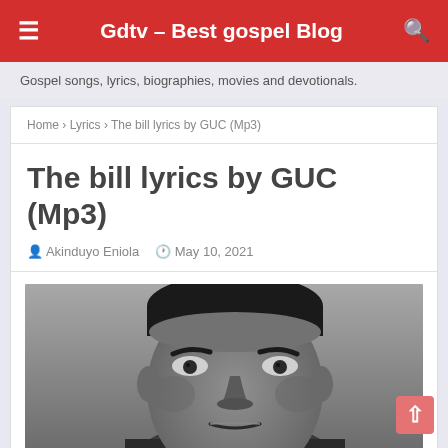Gdtv – Best gospel Blog
Gospel songs, lyrics, biographies, movies and devotionals.
Home › Lyrics › The bill lyrics by GUC (Mp3)
The bill lyrics by GUC (Mp3)
Akinduyo Eniola   May 10, 2021
[Figure (photo): Black and white close-up portrait photo of a man (GUC), showing his face and upper head against a grey background.]